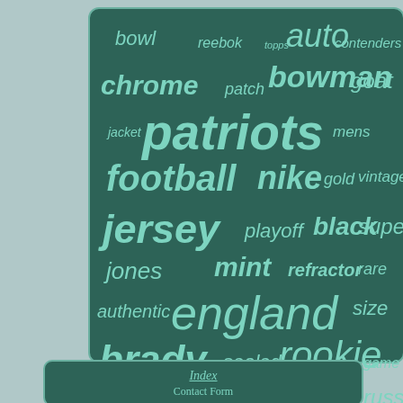[Figure (infographic): Word cloud on dark green background with teal/mint colored words related to New England Patriots memorabilia and trading cards. Words include: bowl, reebok, topps, auto, contenders, chrome, patch, bowman, goat, patriots (largest), jacket, mens, football, nike, gold, vintage, jersey, playoff, black, super, jones, mint, refractor, rare, england, authentic, size, brady, sealed, rookie, game, panini, card, helmet, donruss]
Index
Contact Form